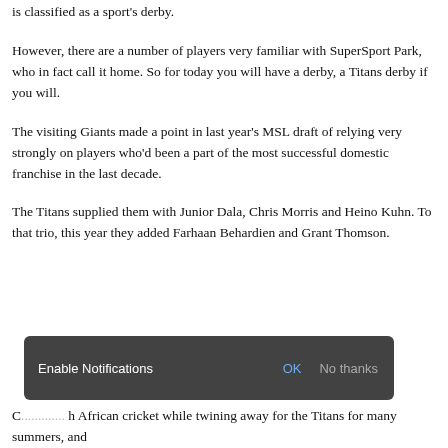is classified as a sport's derby.
However, there are a number of players very familiar with SuperSport Park, who in fact call it home. So for today you will have a derby, a Titans derby if you will.
The visiting Giants made a point in last year's MSL draft of relying very strongly on players who'd been a part of the most successful domestic franchise in the last decade.
The Titans supplied them with Junior Dala, Chris Morris and Heino Kuhn. To that trio, this year they added Farhaan Behardien and Grant Thomson.
[Figure (screenshot): Enable Notifications dialog bar with OK and No thanks buttons, dark semi-transparent background]
C... h African cricket while twining away for the Titans for many summers, and